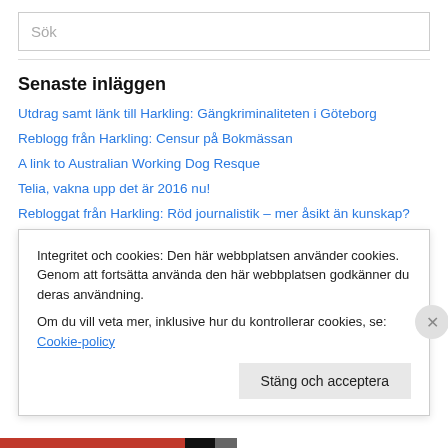Sök
Senaste inläggen
Utdrag samt länk till Harkling: Gängkriminaliteten i Göteborg
Reblogg från Harkling: Censur på Bokmässan
A link to Australian Working Dog Resque
Telia, vakna upp det är 2016 nu!
Rebloggat från Harkling: Röd journalistik – mer åsikt än kunskap?
Utanförskap börjar i hemmet! (uppdaterad 19 Augusti 2016)
Utanförskap ingen ursäkt för att bränna bilar!
Integritet och cookies: Den här webbplatsen använder cookies. Genom att fortsätta använda den här webbplatsen godkänner du deras användning.
Om du vill veta mer, inklusive hur du kontrollerar cookies, se: Cookie-policy
Stäng och acceptera